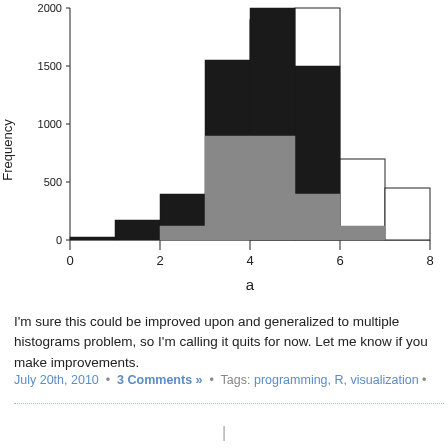[Figure (histogram): Overlapping histogram with three distributions (dark/black, gray, white/outline) over variable 'a' with x-axis 0-8 and y-axis Frequency 0-2000]
I'm sure this could be improved upon and generalized to multiple histograms problem, so I'm calling it quits for now. Let me know if you make improvements.
July 20th, 2010 • 3 Comments » • Tags: programming, R, visualization •